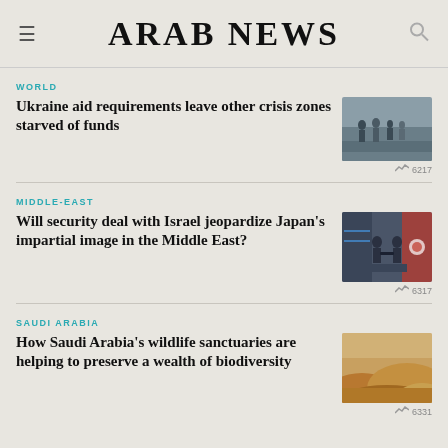ARAB NEWS
WORLD
Ukraine aid requirements leave other crisis zones starved of funds
[Figure (photo): People walking outdoors in winter, possibly refugees or displaced people]
6217
MIDDLE-EAST
Will security deal with Israel jeopardize Japan's impartial image in the Middle East?
[Figure (photo): Two officials shaking hands in front of Israeli and Japanese flags]
6317
SAUDI ARABIA
How Saudi Arabia's wildlife sanctuaries are helping to preserve a wealth of biodiversity
[Figure (photo): Sand dunes in a desert landscape]
6331